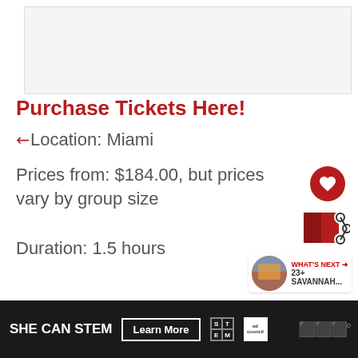[Figure (photo): Top image area, light gray background placeholder]
Purchase Tickets Here!
↗ Location: Miami
Prices from: $184.00, but prices vary by group size
Duration: 1.5 hours
[Figure (infographic): What's Next panel with thumbnail, label WHAT'S NEXT → 23+ SAVANNAH...]
[Figure (other): Bottom advertisement banner: SHE CAN STEM Learn More with STEM logo and Ad Council logo]